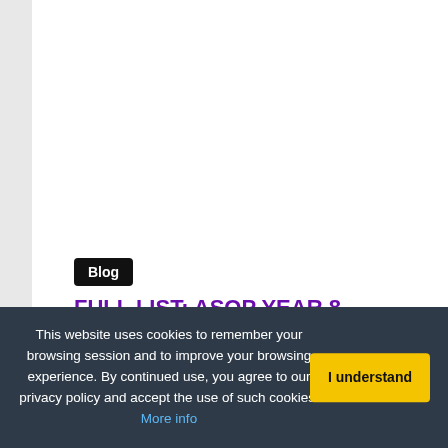Blog
FULL LIST: ASOP YEAR 8 WINNERS
Published On: Friday - November 8th, 2019
MANILA, Philippines – A Song of Praise Music Festival Year 8
This website uses cookies to remember your browsing session and to improve your browsing experience. By continued use, you agree to our privacy policy and accept the use of such cookies. More info